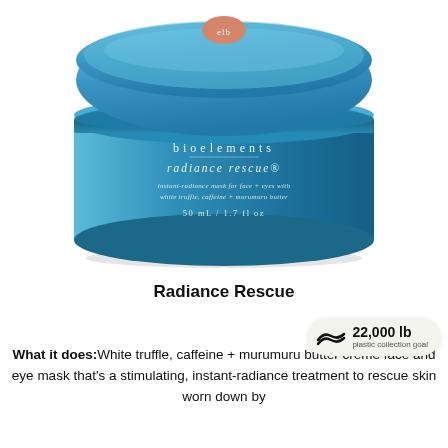[Figure (photo): A round blue jar of Bioelements Radiance Rescue instant-radiance mask for face + eyes with white truffle, caffeine + murumuru butter, 50 mL / 1.7 fl oz. The lid has a small orange logo on top.]
Radiance Rescue
What it does: White truffle, caffeine + murumuru butter creme face and eye mask that's a stimulating, instant-radiance treatment to rescue skin worn down by
[Figure (infographic): Badge showing 22,000 lb plastic collection goal with a wave/ocean icon]